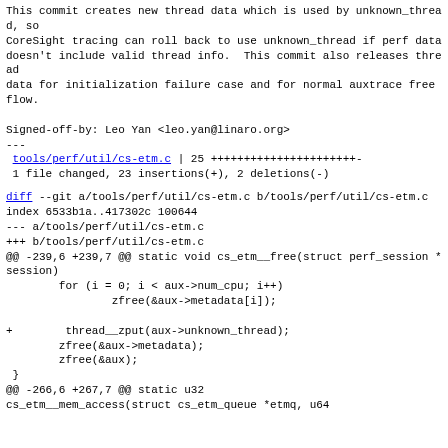This commit creates new thread data which is used by unknown_thread, so
CoreSight tracing can roll back to use unknown_thread if perf data
doesn't include valid thread info.  This commit also releases thread
data for initialization failure case and for normal auxtrace free flow.

Signed-off-by: Leo Yan <leo.yan@linaro.org>
---
 tools/perf/util/cs-etm.c | 25 ++++++++++++++++++++++-
 1 file changed, 23 insertions(+), 2 deletions(-)
diff --git a/tools/perf/util/cs-etm.c b/tools/perf/util/cs-etm.c
index 6533b1a..417302c 100644
--- a/tools/perf/util/cs-etm.c
+++ b/tools/perf/util/cs-etm.c
@@ -239,6 +239,7 @@ static void cs_etm__free(struct perf_session *session)
        for (i = 0; i < aux->num_cpu; i++)
                zfree(&aux->metadata[i]);

+        thread__zput(aux->unknown_thread);
        zfree(&aux->metadata);
        zfree(&aux);
 }
@@ -266,6 +267,7 @@ static u32
cs_etm__mem_access(struct cs_etm_queue *etmq, u64